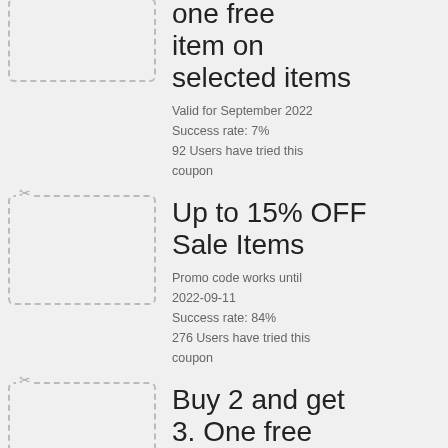[Figure (other): Activate Coupon button with dashed border and scissors icon - one free item on selected items]
one free item on selected items
Valid for September 2022
Success rate: 7%
92 Users have tried this coupon
[Figure (other): Activate Coupon button with dashed border and scissors icon - Up to 15% OFF Sale Items]
Up to 15% OFF Sale Items
Promo code works until 2022-09-11
Success rate: 84%
276 Users have tried this coupon
[Figure (other): Activate Coupon button with dashed border and scissors icon - Buy 2 and get 3. One free]
Buy 2 and get 3. One free